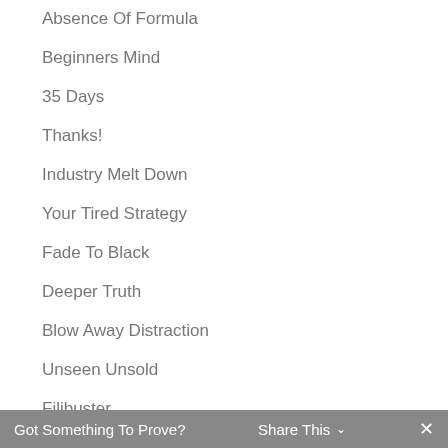Absence Of Formula
Beginners Mind
35 Days
Thanks!
Industry Melt Down
Your Tired Strategy
Fade To Black
Deeper Truth
Blow Away Distraction
Unseen Unsold
Filibuster
Got Something To Prove?   Share This   ✕